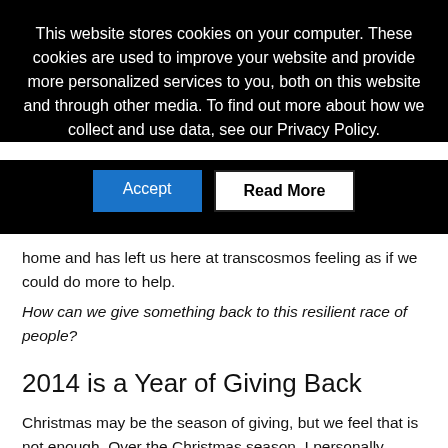This website stores cookies on your computer. These cookies are used to improve your website and provide more personalized services to you, both on this website and through other media. To find out more about how we collect and use data, see our Privacy Policy.
[Figure (other): Two buttons: 'Accept' (blue background, white text) and 'Read More' (white background, black text, black border)]
home and has left us here at transcosmos feeling as if we could do more to help.
How can we give something back to this resilient race of people?
2014 is a Year of Giving Back
Christmas may be the season of giving, but we feel that is not enough. Over the Christmas season, I personally pondered upon corporate responsibility and how